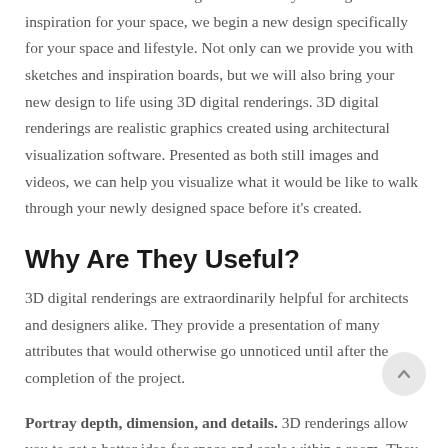Once the Zeiman team has gotten to know you and gathered inspiration for your space, we begin a new design specifically for your space and lifestyle. Not only can we provide you with sketches and inspiration boards, but we will also bring your new design to life using 3D digital renderings. 3D digital renderings are realistic graphics created using architectural visualization software. Presented as both still images and videos, we can help you visualize what it would be like to walk through your newly designed space before it’s created.
Why Are They Useful?
3D digital renderings are extraordinarily helpful for architects and designers alike. They provide a presentation of many attributes that would otherwise go unnoticed until after the completion of the project.
Portray depth, dimension, and details. 3D renderings allow you to get a better idea for space and scale within a room. They also allow you to see